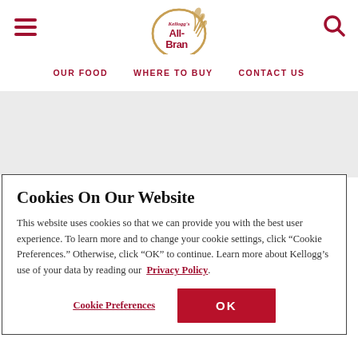[Figure (logo): Kellogg's All-Bran logo with wheat stalk in circular badge]
OUR FOOD   WHERE TO BUY   CONTACT US
Cookies On Our Website
This website uses cookies so that we can provide you with the best user experience. To learn more and to change your cookie settings, click “Cookie Preferences.” Otherwise, click “OK” to continue. Learn more about Kellogg's use of your data by reading our Privacy Policy.
Cookie Preferences   OK